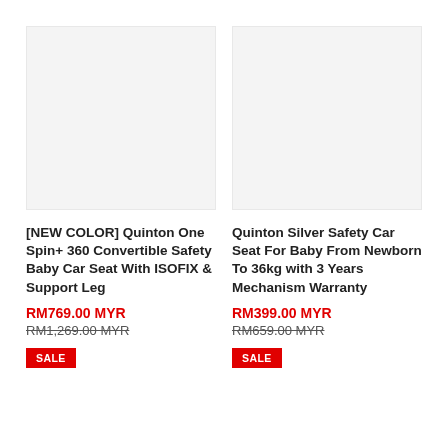[Figure (photo): Product image placeholder for [NEW COLOR] Quinton One Spin+ 360 Convertible Safety Baby Car Seat With ISOFIX & Support Leg]
[NEW COLOR] Quinton One Spin+ 360 Convertible Safety Baby Car Seat With ISOFIX & Support Leg
RM769.00 MYR
RM1,269.00 MYR
SALE
[Figure (photo): Product image placeholder for Quinton Silver Safety Car Seat For Baby From Newborn To 36kg with 3 Years Mechanism Warranty]
Quinton Silver Safety Car Seat For Baby From Newborn To 36kg with 3 Years Mechanism Warranty
RM399.00 MYR
RM659.00 MYR
SALE